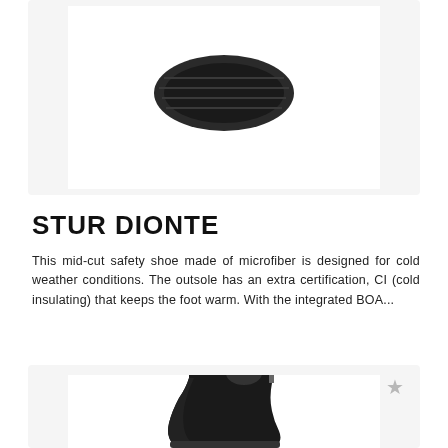[Figure (photo): Top portion of a safety shoe product card showing the bottom/sole view of a dark boot on white background within a light gray card]
STUR DIONTE
This mid-cut safety shoe made of microfiber is designed for cold weather conditions. The outsole has an extra certification, CI (cold insulating) that keeps the foot warm. With the integrated BOA...
[Figure (photo): Second product card showing a dark black mid-cut safety boot with gray laces and a silver/gray logo on the side, photographed from a side angle on white background within a light gray card. A gray star icon appears in the top right of the card.]